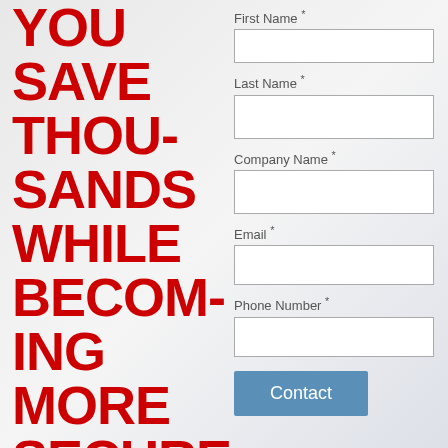YOU SAVE THOUSANDS WHILE BECOMING MORE SECURE
Antivirus software is not enough. Apex Technology Services used its decades of IT and cybersecurity experience to create budget-friendly network
[Figure (other): Contact form with fields for First Name, Last Name, Company Name, Email, Phone Number and a Contact button]